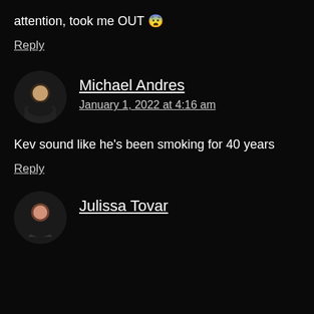attention, took me OUT 😨
Reply
Michael Andres
January 1, 2022 at 4:16 am
Kev sound like he's been smoking for 40 years
Reply
Julissa Tovar